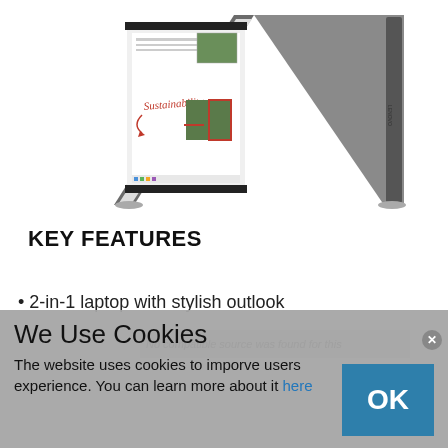[Figure (photo): A 2-in-1 laptop/tablet device shown in tent mode with a touchscreen displaying a document with handwritten text 'Sustainability' and images, on a white background.]
KEY FEATURES
2-in-1 laptop with stylish outlook
No compatible source was found for this
We Use Cookies
The website uses cookies to imporve users experience. You can learn more about it here